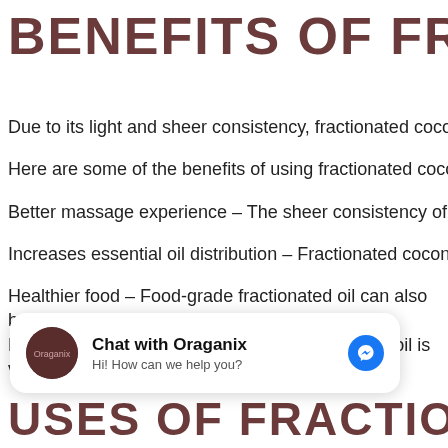BENEFITS OF FRACTIONATED COCONUT OIL
Due to its light and sheer consistency, fractionated coconut oil…
Here are some of the benefits of using fractionated coconut oil…
Better massage experience – The sheer consistency of fractionated…
Increases essential oil distribution – Fractionated coconut oil i…
Healthier food – Food-grade fractionated oil can also be used. Because of the way it is processed, fractionated oil is virtually…
[Figure (screenshot): Facebook Messenger chat widget for Oraganix with avatar, title 'Chat with Oraganix', subtitle 'Hi! How can we help you?' and messenger icon]
USES OF FRACTIONATED COCONUT OIL